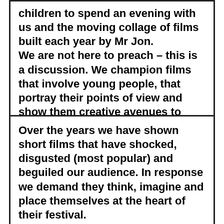children to spend an evening with us and the moving collage of films built each year by Mr Jon.
We are not here to preach – this is a discussion. We champion films that involve young people, that portray their points of view and show them creative avenues to explore and experiment with.
Over the years we have shown short films that have shocked, disgusted (most popular) and beguiled our audience. In response we demand they think, imagine and place themselves at the heart of their festival.